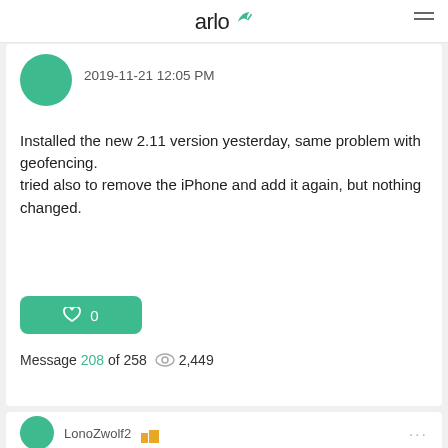arlo
2019-11-21 12:05 PM
Installed the new 2.11 version yesterday, same problem with geofencing.
tried also to remove the iPhone and add it again, but nothing changed.
♡ 0
Message 208 of 258  👁 2,449
LonoZwolf2